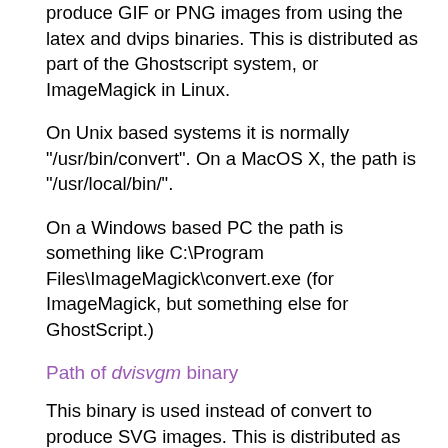produce GIF or PNG images from using the latex and dvips binaries. This is distributed as part of the Ghostscript system, or ImageMagick in Linux.
On Unix based systems it is normally "/usr/bin/convert". On a MacOS X, the path is "/usr/local/bin/".
On a Windows based PC the path is something like C:\Program Files\ImageMagick\convert.exe (for ImageMagick, but something else for GhostScript.)
Path of dvisvgm binary
This binary is used instead of convert to produce SVG images. This is distributed as part of TeXlive on Linux although it may be require the full or extra packages to be installed.
On Unix based systems it is normally "/usr/bin/dvisvgm".
On a Windows based PC a compiled binary is available